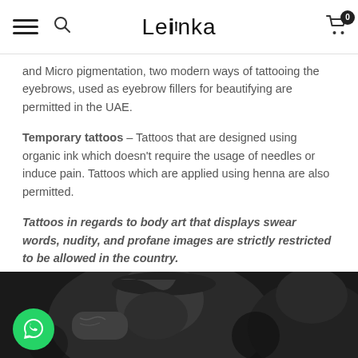Le Inka — navigation bar with hamburger menu, search icon, logo, and cart (0 items)
and Micro pigmentation, two modern ways of tattooing the eyebrows, used as eyebrow fillers for beautifying are permitted in the UAE.
Temporary tattoos – Tattoos that are designed using organic ink which doesn't require the usage of needles or induce pain. Tattoos which are applied using henna are also permitted.
Tattoos in regards to body art that displays swear words, nudity, and profane images are strictly restricted to be allowed in the country.
[Figure (photo): Black and white photograph of a tattoo artist working, person wearing a cap with hand raised near face, showing a tattooed arm]